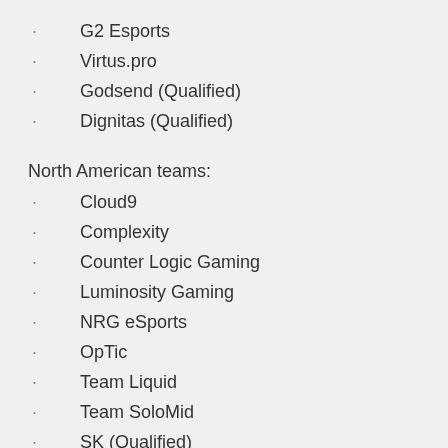G2 Esports
Virtus.pro
Godsend (Qualified)
Dignitas (Qualified)
North American teams:
Cloud9
Complexity
Counter Logic Gaming
Luminosity Gaming
NRG eSports
OpTic
Team Liquid
Team SoloMid
SK (Qualified)
Immortals (Qualified)
Teams that qualify for Season Two of the ECS league will